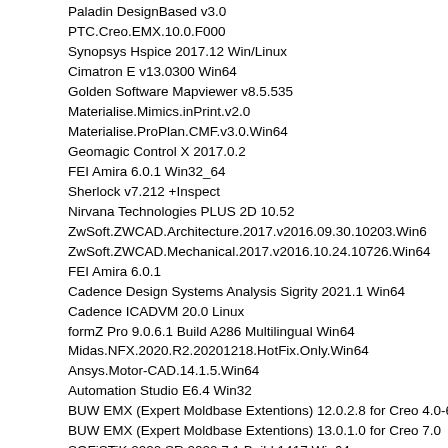Paladin DesignBased v3.0
PTC.Creo.EMX.10.0.F000
Synopsys Hspice 2017.12 Win/Linux
Cimatron E v13.0300 Win64
Golden Software Mapviewer v8.5.535
Materialise.Mimics.inPrint.v2.0
Materialise.ProPlan.CMF.v3.0.Win64
Geomagic Control X 2017.0.2
FEI Amira 6.0.1 Win32_64
Sherlock v7.212 +Inspect
Nirvana Technologies PLUS 2D 10.52
ZwSoft.ZWCAD.Architecture.2017.v2016.09.30.10203.Win64
ZwSoft.ZWCAD.Mechanical.2017.v2016.10.24.10726.Win64
FEI Amira 6.0.1
Cadence Design Systems Analysis Sigrity 2021.1 Win64
Cadence ICADVM 20.0 Linux
formZ Pro 9.0.6.1 Build A286 Multilingual Win64
Midas.NFX.2020.R2.20201218.HotFix.Only.Win64
Ansys.Motor-CAD.14.1.5.Win64
Automation Studio E6.4 Win32
BUW EMX (Expert Moldbase Extentions) 12.0.2.8 for Creo 4.0-6.0
BUW EMX (Expert Moldbase Extentions) 13.0.1.0 for Creo 7.0
SOFiSTiK 2020 SR 2020.7.1 Build 1417 Win64